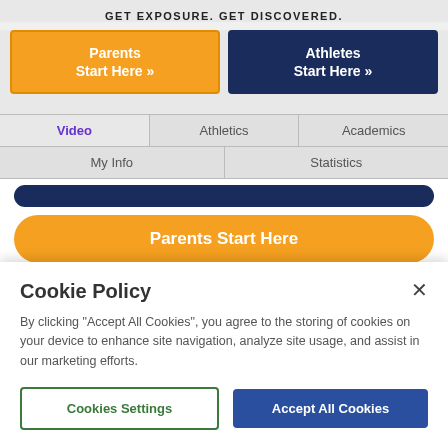GET EXPOSURE. GET DISCOVERED.
[Figure (screenshot): Two call-to-action buttons: orange 'Parents Start Here »' and navy 'Athletes Start Here »']
[Figure (screenshot): Navigation bar with tabs: Video (active, purple), Athletics, Academics, My Info, Statistics]
[Figure (screenshot): Orange rounded button labeled 'Parents Start Here']
Already a Member? Sign In
The Largest College Recruiting Network
Cookie Policy
By clicking "Accept All Cookies", you agree to the storing of cookies on your device to enhance site navigation, analyze site usage, and assist in our marketing efforts.
Cookies Settings
Accept All Cookies